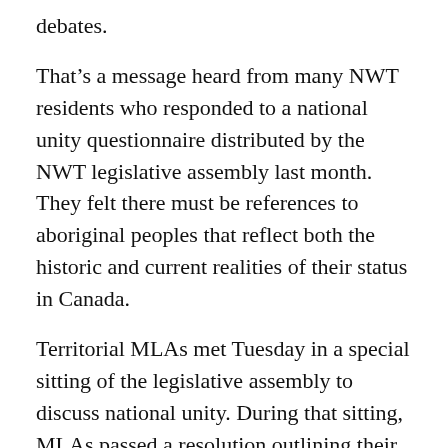debates.
That’s a message heard from many NWT residents who responded to a national unity questionnaire distributed by the NWT legislative assembly last month. They felt there must be references to aboriginal peoples that reflect both the historic and current realities of their status in Canada.
Territorial MLAs met Tuesday in a special sitting of the legislative assembly to discuss national unity. During that sitting, MLAs passed a resolution outlining their position.
“It is important that our resolution reflect the concerns of northerners and, in particular, aboriginal peoples,” said Premier Don Morin.
“Other jurisdictions in Canada are looking to the